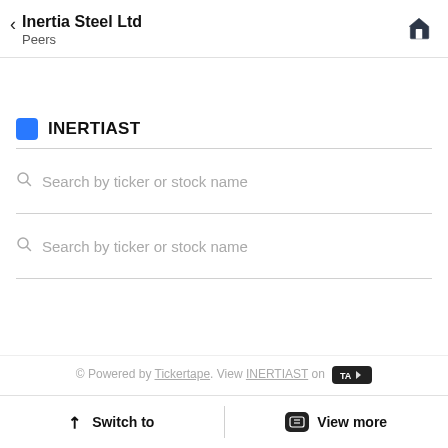Inertia Steel Ltd — Peers
INERTIAST
Search by ticker or stock name
Search by ticker or stock name
© Powered by Tickertape. View INERTIAST on [Tickertape badge]
Switch to   View more